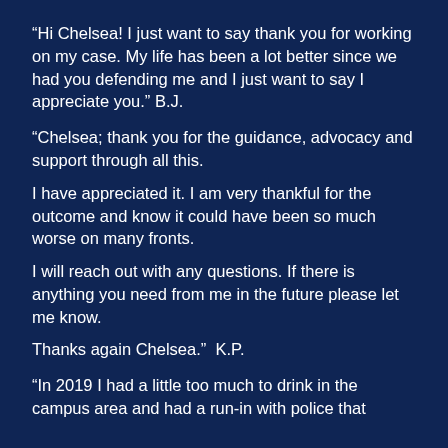“Hi Chelsea! I just want to say thank you for working on my case. My life has been a lot better since we had you defending me and I just want to say I appreciate you.” B.J.
“Chelsea; thank you for the guidance, advocacy and support through all this.

I have appreciated it. I am very thankful for the outcome and know it could have been so much worse on many fronts.

I will reach out with any questions. If there is anything you need from me in the future please let me know.

Thanks again Chelsea.”  K.P.
“In 2019 I had a little too much to drink in the campus area and had a run-in with police that resulted in...